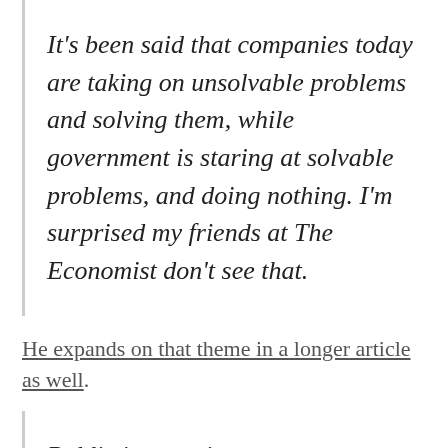It's been said that companies today are taking on unsolvable problems and solving them, while government is staring at solvable problems, and doing nothing. I'm surprised my friends at The Economist don't see that.
He expands on that theme in a longer article as well.
Public interest in corporate responsibility is unusually high: A July survey of 1,026 adults for Fortune by polling firm New Paradigm Strategy Group found that nearly three-quarters (72%) agree that public companies should be "mission-driven" as well